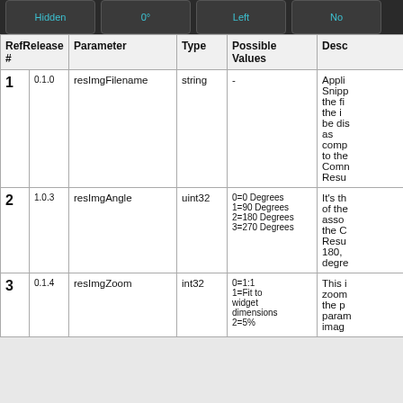[Figure (screenshot): Top bar with four buttons: Hidden, 0°, Left, No]
| Ref # | Release | Parameter | Type | Possible Values | Desc |
| --- | --- | --- | --- | --- | --- |
| 1 | 0.1.0 | resImgFilename | string | - | Appli Snipp the fi the i be di as comp to the Comn Resu |
| 2 | 1.0.3 | resImgAngle | uint32 | 0=0 Degrees
1=90 Degrees
2=180 Degrees
3=270 Degrees | It's th of the asso the C Resu 180, degre |
| 3 | 0.1.4 | resImgZoom | int32 | 0=1:1
1=Fit to widget dimensions
2=5% | This i zoom the p param imag |